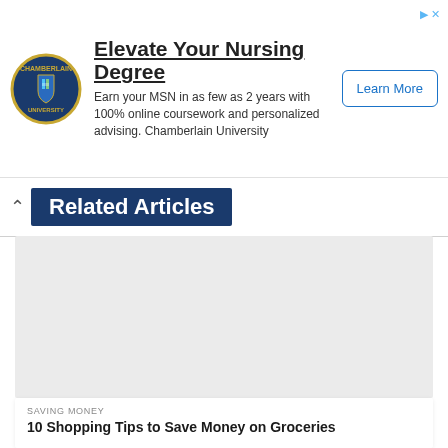[Figure (advertisement): Chamberlain University ad banner with circular logo, headline 'Elevate Your Nursing Degree', body text, and 'Learn More' button]
Related Articles
[Figure (photo): Light grey placeholder image for a related article]
SAVING MONEY
10 Shopping Tips to Save Money on Groceries